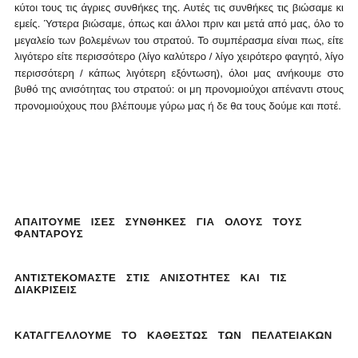κύτοι τους τις άγριες συνθήκες της. Αυτές τις συνθήκες τις βιώσαμε κι εμείς. Ύστερα βιώσαμε, όπως και άλλοι πριν και μετά από μας, όλο το μεγαλείο των βολεμένων του στρατού. Το συμπέρασμα είναι πως, είτε λιγότερο είτε περισσότερο (λίγο καλύτερο / λίγο χειρότερο φαγητό, λίγο περισσότερη / κάπως λιγότερη εξόντωση), όλοι μας ανήκουμε στο βυθό της ανισότητας του στρατού: οι μη προνομιούχοι απέναντι στους προνομιούχους που βλέπουμε γύρω μας ή δε θα τους δούμε και ποτέ.
ΑΠΑΙΤΟΥΜΕ ΙΣΕΣ ΣΥΝΘΗΚΕΣ ΓΙΑ ΟΛΟΥΣ ΤΟΥΣ ΦΑΝΤΑΡΟΥΣ
ΑΝΤΙΣΤΕΚΟΜΑΣΤΕ ΣΤΙΣ ΑΝΙΣΟΤΗΤΕΣ ΚΑΙ ΤΙΣ ΔΙΑΚΡΙΣΕΙΣ
ΚΑΤΑΓΓΕΛΛΟΥΜΕ ΤΟ ΚΑΘΕΣΤΩΣ ΤΩΝ ΠΕΛΑΤΕΙΑΚΩΝ